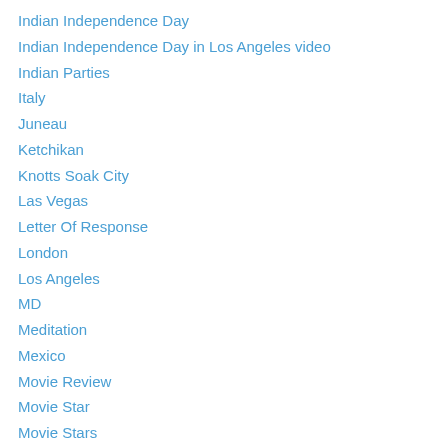Indian Independence Day
Indian Independence Day in Los Angeles video
Indian Parties
Italy
Juneau
Ketchikan
Knotts Soak City
Las Vegas
Letter Of Response
London
Los Angeles
MD
Meditation
Mexico
Movie Review
Movie Star
Movie Stars
Movies
MSC Musica